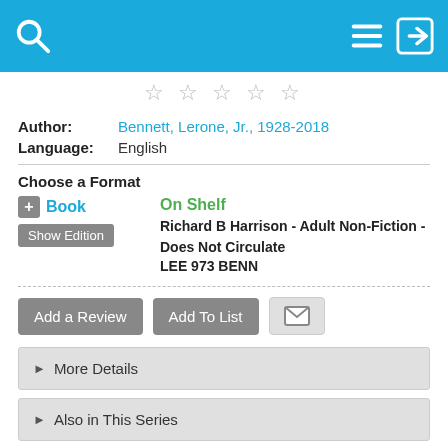[Figure (screenshot): Top navigation bar with search icon on left and menu/login icons on right, blue background]
☆☆☆☆☆ (star rating row)
Author: Bennett, Lerone, Jr., 1928-2018
Language: English
Choose a Format
+ Book  On Shelf  Richard B Harrison - Adult Non-Fiction - Does Not Circulate  LEE 973 BENN
Add a Review  Add To List  [email icon]
► More Details
► Also in This Series
► Published Reviews
► Reviews from GoodReads
► Staff View